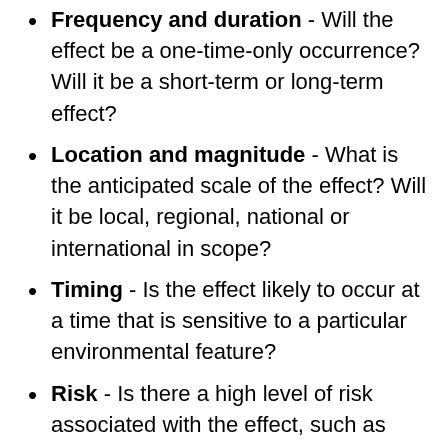Frequency and duration - Will the effect be a one-time-only occurrence? Will it be a short-term or long-term effect?
Location and magnitude - What is the anticipated scale of the effect? Will it be local, regional, national or international in scope?
Timing - Is the effect likely to occur at a time that is sensitive to a particular environmental feature?
Risk - Is there a high level of risk associated with the effect, such as